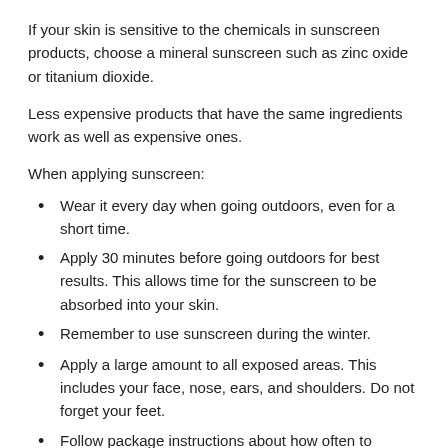If your skin is sensitive to the chemicals in sunscreen products, choose a mineral sunscreen such as zinc oxide or titanium dioxide.
Less expensive products that have the same ingredients work as well as expensive ones.
When applying sunscreen:
Wear it every day when going outdoors, even for a short time.
Apply 30 minutes before going outdoors for best results. This allows time for the sunscreen to be absorbed into your skin.
Remember to use sunscreen during the winter.
Apply a large amount to all exposed areas. This includes your face, nose, ears, and shoulders. Do not forget your feet.
Follow package instructions about how often to reapply. This is usually at least every 2 hours.
Always reapply after swimming or sweating.